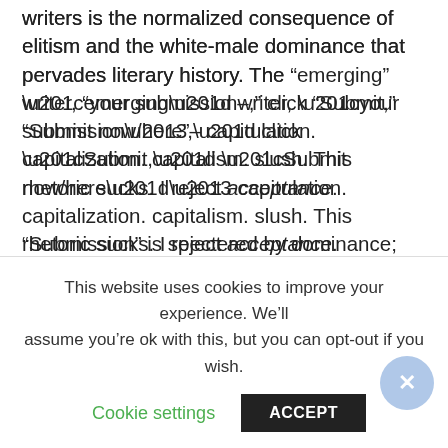writers is the normalized consequence of elitism and the white-male dominance that pervades literary history. The “emerging” writer, “your submission–,” click “Submit,” “Submit now/here”– capitulation. capitalization. capitalism. slush. This rhetoric sucks. I reject acceptance.

“Submission” is spectered by dominance; the writer’s prostration before the literary institution, journal and/or gatekeeper embeds itself in the word. What is a literary journal if not for its contributors, community and readership? The
This website uses cookies to improve your experience. We’ll assume you’re ok with this, but you can opt-out if you wish.
Cookie settings    ACCEPT